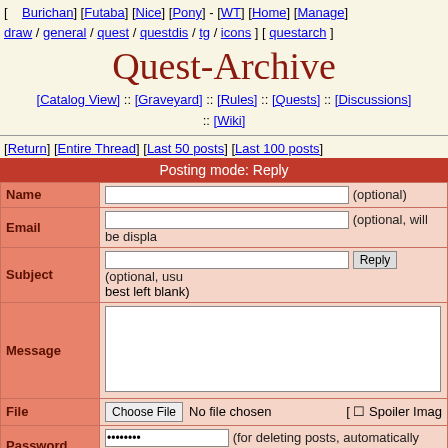[ [Burichan] [Futaba] [Nice] [Pony] - [WT] [Home] [Manage] draw / general / quest / questdis / tg / icons ] [ questarch ]
Quest-Archive
[Catalog View] :: [Graveyard] :: [Rules] :: [Quests] :: [Discussions] :: [Wiki]
[Return] [Entire Thread] [Last 50 posts] [Last 100 posts]
Posting mode: Reply
| Field | Input | Note |
| --- | --- | --- |
| Name |  | (optional) |
| Email |  | (optional, will be displayed) |
| Subject |  | (optional, usually best left blank) |
| Message |  |  |
| File | Choose File  No file chosen | [ □ Spoiler Image |
| Password | •••••••• | (for deleting posts, automatically generated) |
How to format text
Supported file types are: GIF, JPG, PNG, SWF
Maximum file size allowed is 10000 KB.
Images greater than 250x250 pixels will be thumbnailed.